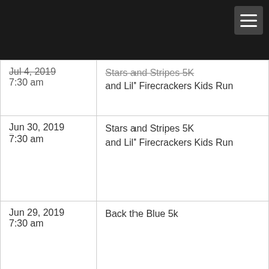[Figure (other): Dark navigation bar with hamburger menu button (three horizontal lines) in the top-right corner]
| Date | Event |
| --- | --- |
| Jul 4, 2019
7:30 am | Stars and Stripes 5K
and Lil' Firecrackers Kids Run |
| Jun 30, 2019
7:30 am | Stars and Stripes 5K
and Lil' Firecrackers Kids Run |
| Jun 29, 2019
7:30 am | Back the Blue 5k |
| Jun 29, 2019
7:00 am | Back the Blue 10K

10K Run |